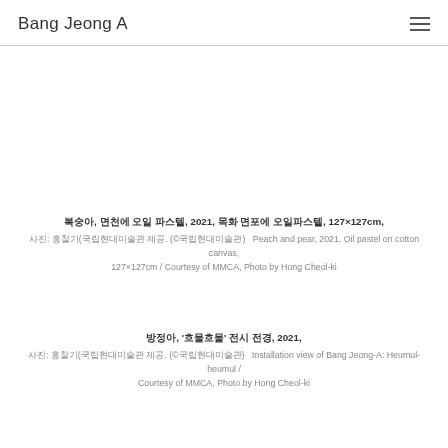Bang Jeong A
복숭아, 면천에 오일 파스텔, 2021, 목화 면포에 오일파스텔, 127×127cm,
사진: 홍철기(국립현대미술관 제공. (©국립현대미술관)   Peach and pear, 2021, Oil pastel on cotton canvas, 127×127cm / Courtesy of MMCA, Photo by Hong Cheol-ki
방정아, '흐물흐물' 전시 전경, 2021,
사진: 홍철기(국립현대미술관 제공. (©국립현대미술관)   Installation view of Bang Jeong-A: Heumul-heumul / Courtesy of MMCA, Photo by Hong Cheol-ki